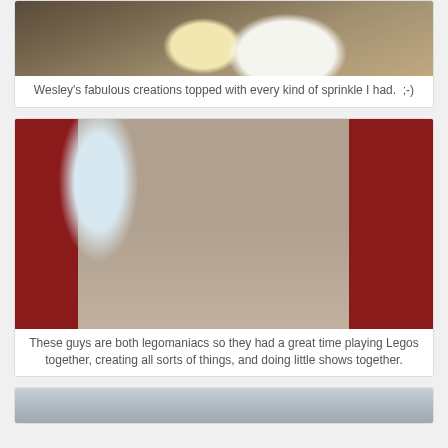[Figure (photo): Decorated cookies on a white paper plate with colorful sprinkles]
Wesley’s fabulous creations topped with every kind of sprinkle I had.  ;-)
[Figure (photo): Two children playing with Legos on the floor of a playroom with colorful toy shelves and a bookcase]
These guys are both legomaniacs so they had a great time playing Legos together, creating all sorts of things, and doing little shows together.
[Figure (photo): Partial view of another room photo at bottom of page]